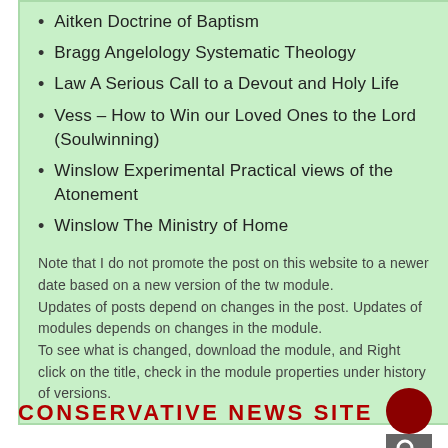Aitken Doctrine of Baptism
Bragg Angelology Systematic Theology
Law A Serious Call to a Devout and Holy Life
Vess – How to Win our Loved Ones to the Lord (Soulwinning)
Winslow Experimental Practical views of the Atonement
Winslow The Ministry of Home
Note that I do not promote the post on this website to a newer date based on a new version of the tw module.
Updates of posts depend on changes in the post. Updates of modules depends on changes in the module.
To see what is changed, download the module, and Right click on the title, check in the module properties under history of versions.
CONSERVATIVE NEWS SITE